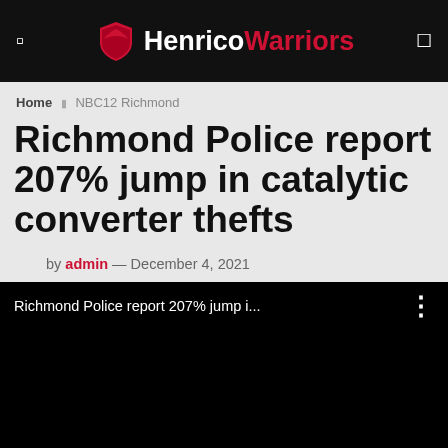Henrico Warriors
Home > NBC12 Richmond
Richmond Police report 207% jump in catalytic converter thefts
by admin — December 4, 2021
[Figure (screenshot): Embedded video player showing 'Richmond Police report 207% jump i...' with three-dot menu icon, black background]